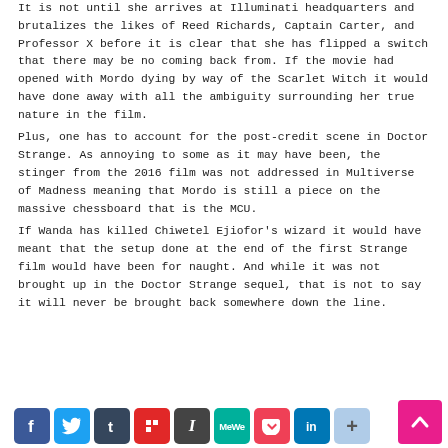It is not until she arrives at Illuminati headquarters and brutalizes the likes of Reed Richards, Captain Carter, and Professor X before it is clear that she has flipped a switch that there may be no coming back from. If the movie had opened with Mordo dying by way of the Scarlet Witch it would have done away with all the ambiguity surrounding her true nature in the film.
Plus, one has to account for the post-credit scene in Doctor Strange. As annoying to some as it may have been, the stinger from the 2016 film was not addressed in Multiverse of Madness meaning that Mordo is still a piece on the massive chessboard that is the MCU.
If Wanda has killed Chiwetel Ejiofor's wizard it would have meant that the setup done at the end of the first Strange film would have been for naught. And while it was not brought up in the Doctor Strange sequel, that is not to say it will never be brought back somewhere down the line.
[Figure (infographic): Social sharing bar with icons: Facebook (blue), Twitter (light blue), Tumblr (dark blue-grey), Flipboard (red), Instapaper (dark grey), MeWe (teal), Pocket (red-pink), LinkedIn (blue), More/plus (light blue). Scroll-to-top button (pink/magenta) at bottom right.]